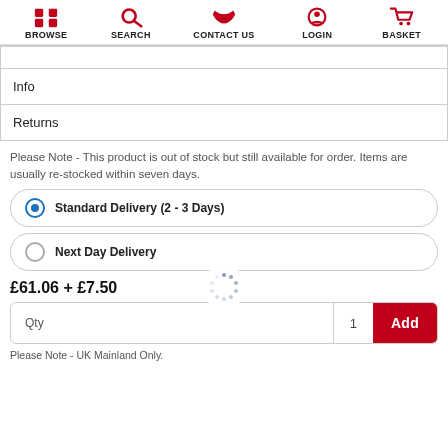BROWSE  SEARCH  CONTACT US  LOGIN  BASKET
| (partial row) |
| Info |
| Returns |
Please Note - This product is out of stock but still available for order. Items are usually re-stocked within seven days.
Standard Delivery (2 - 3 Days)
Next Day Delivery
£61.06 + £7.50
Qty  1  Add
Please Note - UK Mainland Only.